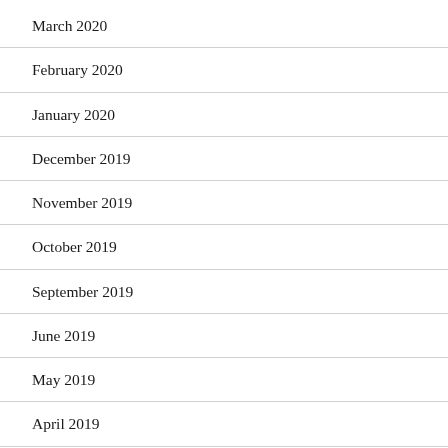March 2020
February 2020
January 2020
December 2019
November 2019
October 2019
September 2019
June 2019
May 2019
April 2019
June 2018